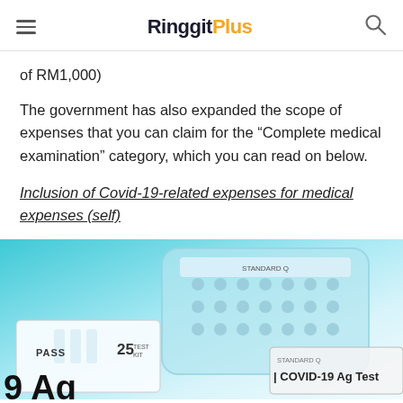RinggitPlus
of RM1,000)
The government has also expanded the scope of expenses that you can claim for the “Complete medical examination” category, which you can read on below.
Inclusion of Covid-19-related expenses for medical expenses (self)
[Figure (photo): Photo of COVID-19 Ag Test kit boxes with white test kit items, PASS label, 25 count label, and COVID-19 Ag Test branding visible on packaging against a teal/blue gradient background.]